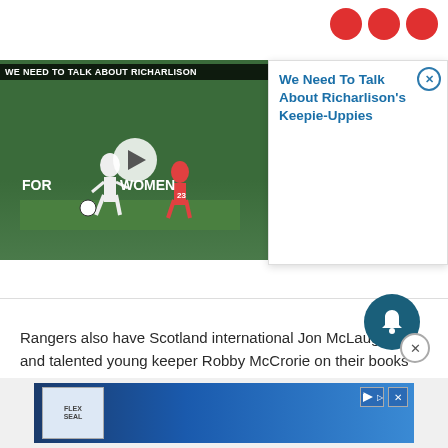[Figure (screenshot): Video thumbnail showing a football/soccer match with text overlay 'WE NEED TO TALK ABOUT RICHARLISON', with a play button in the center. A popup card to the right shows the title 'We Need To Talk About Richarlison's Keepie-Uppies' with a close button.]
Rangers also have Scotland international Jon McLaughlin and talented young keeper Robby McCrorie on their books so adding a fourth stopper appears unrealistic.
But it is promising that if Rangers want to do a deal th...
[Figure (screenshot): Bottom advertisement banner with a logo on the left and blue gradient background, plus play and close controls.]